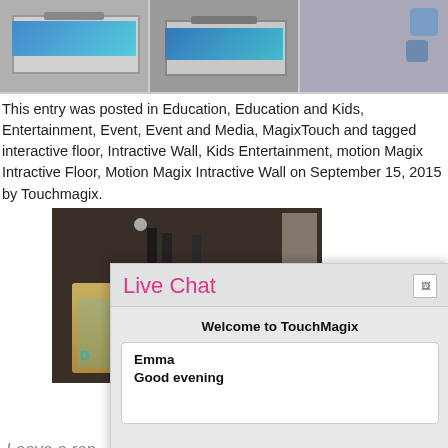[Figure (photo): Row of three photos showing white-framed touch screen tables/displays]
This entry was posted in Education, Education and Kids, Entertainment, Event, Event and Media, MagixTouch and tagged interactive floor, Intractive Wall, Kids Entertainment, motion Magix Intractive Floor, Motion Magix Intractive Wall on September 15, 2015 by Touchmagix.
[Figure (photo): Interactive floor projection system showing colored projections on a floor with people standing on it]
[Figure (screenshot): Live Chat overlay widget showing Welcome to TouchMagix with Emma saying Good evening and a chat input field]
Leave a rep